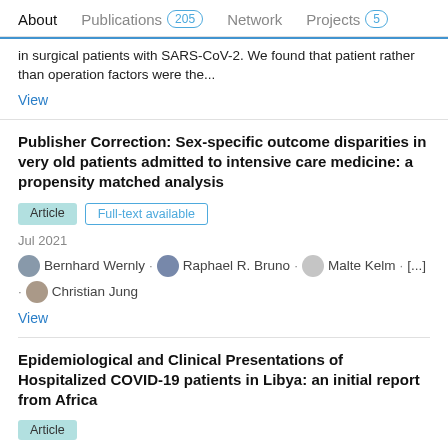About  Publications 205  Network  Projects 5
in surgical patients with SARS-CoV-2. We found that patient rather than operation factors were the...
View
Publisher Correction: Sex-specific outcome disparities in very old patients admitted to intensive care medicine: a propensity matched analysis
Article  Full-text available
Jul 2021
Bernhard Wernly · Raphael R. Bruno · Malte Kelm · [...] · Christian Jung
View
Epidemiological and Clinical Presentations of Hospitalized COVID-19 patients in Libya: an initial report from Africa
Article
Jul 2021